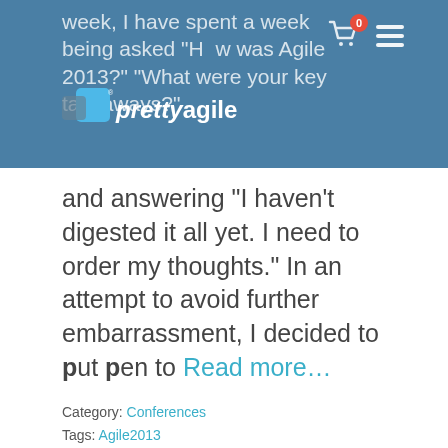week, I have spent a week being asked "How was Agile 2013?" "What were your key takeaways?"
[Figure (logo): prettyagile logo with blue squares and white text]
and answering "I haven't digested it all yet. I need to order my thoughts." In an attempt to avoid further embarrassment, I decided to put pen to Read more...
Category: Conferences
Tags: Agile2013
My key takeaways from Scrum Australia
Em Campbell-Pretty - May 14, 2013